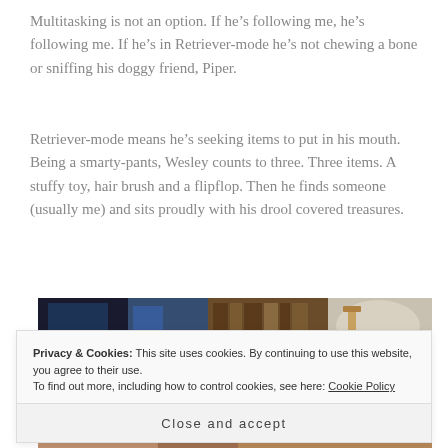Multitasking is not an option. If he’s following me, he’s following me. If he’s in Retriever-mode he’s not chewing a bone or sniffing his doggy friend, Piper.
Retriever-mode means he’s seeking items to put in his mouth. Being a smarty-pants, Wesley counts to three. Three items. A stuffy toy, hair brush and a flipflop. Then he finds someone (usually me) and sits proudly with his drool covered treasures.
[Figure (photo): Partial photo of a room interior, appears to show bookshelves, blue lighting on left, and objects on a surface including what looks like a wooden object, with warm brown tones on right.]
Privacy & Cookies: This site uses cookies. By continuing to use this website, you agree to their use.
To find out more, including how to control cookies, see here: Cookie Policy
Close and accept
[Figure (photo): Bottom portion of another photo, warm brown tones suggesting an animal or interior setting.]